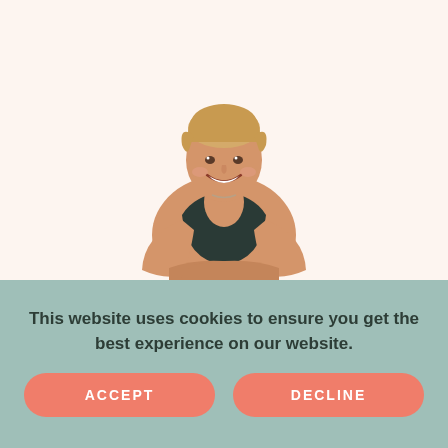[Figure (photo): A smiling blonde woman in a black sports bra with arms crossed, photographed against a white/light background. She appears to be a fitness instructor or athlete.]
This website uses cookies to ensure you get the best experience on our website.
ACCEPT
DECLINE